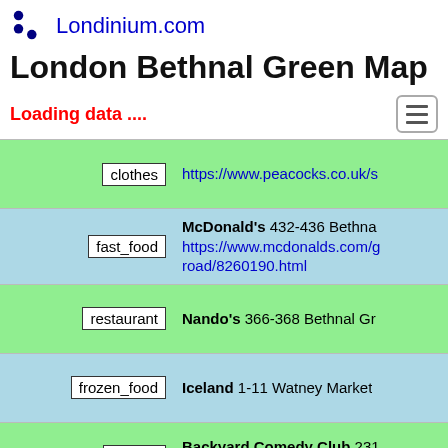Londinium.com
London Bethnal Green Map
Loading data ....
| category | details |
| --- | --- |
| clothes | https://www.peacocks.co.uk/s... |
| fast_food | McDonald's 432-436 Bethna... https://www.mcdonalds.com/g.../road/8260190.html |
| restaurant | Nando's 366-368 Bethnal Gr... |
| frozen_food | Iceland 1-11 Watney Market... |
| theatre | Backyard Comedy Club 231... https://backyardcomedyclub.c... |
|  | Boxcar Taproom & Brewer... |